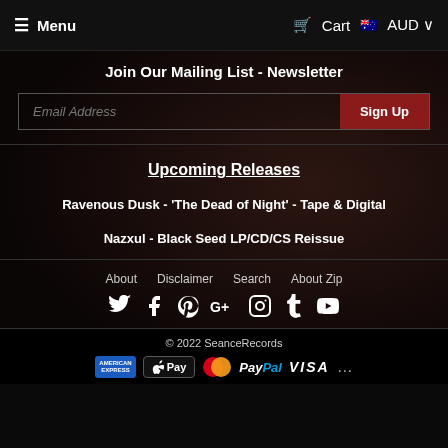Menu  Cart  AUD
Join Our Mailing List - Newsletter
Email Address  Sign Up
Upcoming Releases
Ravenous Dusk - 'The Dead of Night' - Tape & Digital
Nazxul - Black Seed LP/CD/CS Reissue
About  Disclaimer  Search  About Zip
© 2022 SeanceRecords